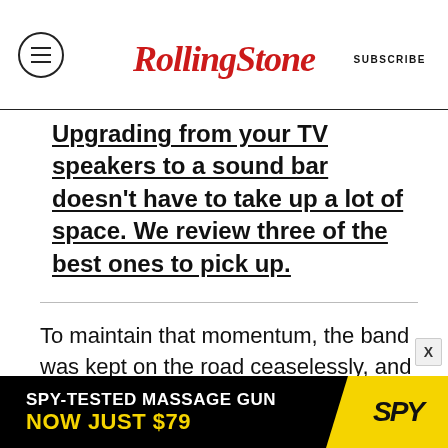Rolling Stone | SUBSCRIBE
Upgrading from your TV speakers to a sound bar doesn't have to take up a lot of space. We review three of the best ones to pick up.
To maintain that momentum, the band was kept on the road ceaselessly, and they let off steam in every Seventies rock & roll way imaginable. Johnston recalls driving a go-kart into a pool. A crew member who handled their pyro would
[Figure (infographic): Advertisement banner: SPY-TESTED MASSAGE GUN NOW JUST $79 with SPY logo on yellow background]